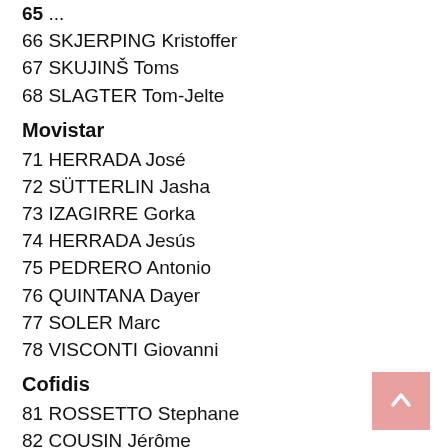66 SKJERPING Kristoffer
67 SKUJINŠ Toms
68 SLAGTER Tom-Jelte
Movistar
71 HERRADA José
72 SÜTTERLIN Jasha
73 IZAGIRRE Gorka
74 HERRADA Jesús
75 PEDRERO Antonio
76 QUINTANA Dayer
77 SOLER Marc
78 VISCONTI Giovanni
Cofidis
81 ROSSETTO Stephane
82 COUSIN Jérôme
83 HARDY Romain
84 MOLARD Rudy